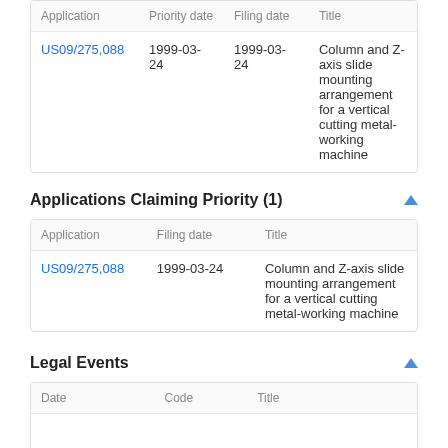| Application | Priority date | Filing date | Title |
| --- | --- | --- | --- |
| US09/275,088 | 1999-03-24 | 1999-03-24 | Column and Z-axis slide mounting arrangement for a vertical cutting metal-working machine |
Applications Claiming Priority (1)
| Application | Filing date | Title |
| --- | --- | --- |
| US09/275,088 | 1999-03-24 | Column and Z-axis slide mounting arrangement for a vertical cutting metal-working machine |
Legal Events
| Date | Code | Title |
| --- | --- | --- |